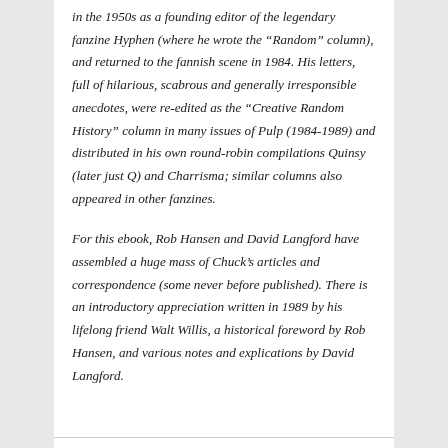in the 1950s as a founding editor of the legendary fanzine Hyphen (where he wrote the “Random” column), and returned to the fannish scene in 1984. His letters, full of hilarious, scabrous and generally irresponsible anecdotes, were re-edited as the “Creative Random History” column in many issues of Pulp (1984-1989) and distributed in his own round-robin compilations Quinsy (later just Q) and Charrisma; similar columns also appeared in other fanzines.
For this ebook, Rob Hansen and David Langford have assembled a huge mass of Chuck’s articles and correspondence (some never before published). There is an introductory appreciation written in 1989 by his lifelong friend Walt Willis, a historical foreword by Rob Hansen, and various notes and explications by David Langford.